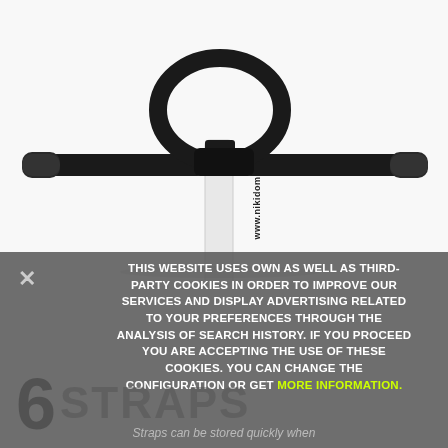[Figure (photo): Close-up photo of a black T-shaped handlebar with loop/ring shape at top center and rubber-grip ends on each side, mounted on a white pole with 'www.nikidomroll' text printed on it, against a white background.]
THIS WEBSITE USES OWN AS WELL AS THIRD-PARTY COOKIES IN ORDER TO IMPROVE OUR SERVICES AND DISPLAY ADVERTISING RELATED TO YOUR PREFERENCES THROUGH THE ANALYSIS OF SEARCH HISTORY. IF YOU PROCEED YOU ARE ACCEPTING THE USE OF THESE COOKIES. YOU CAN CHANGE THE CONFIGURATION OR GET MORE INFORMATION.
Straps can be stored quickly when